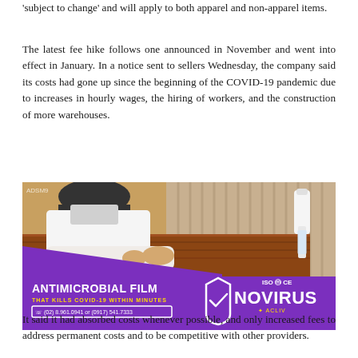'subject to change' and will apply to both apparel and non-apparel items.
The latest fee hike follows one announced in November and went into effect in January. In a notice sent to sellers Wednesday, the company said its costs had gone up since the beginning of the COVID-19 pandemic due to increases in hourly wages, the hiring of workers, and the construction of more warehouses.
[Figure (photo): Advertisement for NOVIRUS Antimicrobial Film by ACLIV. Shows a person in a mask and cap applying film to a wooden surface with a spray bottle nearby. Purple overlay with text: ANTIMICROBIAL FILM THAT KILLS COVID-19 WITHIN MINUTES. Contact: (02) 8.961.0941 or (0917) 541.7333. ISO CE certified logos visible.]
It said it had absorbed costs whenever possible, and only increased fees to address permanent costs and to be competitive with other providers.